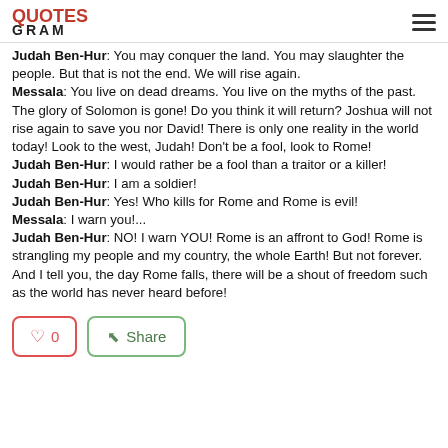QUOTESGRAM
Judah Ben-Hur: You may conquer the land. You may slaughter the people. But that is not the end. We will rise again.
Messala: You live on dead dreams. You live on the myths of the past. The glory of Solomon is gone! Do you think it will return? Joshua will not rise again to save you nor David! There is only one reality in the world today! Look to the west, Judah! Don't be a fool, look to Rome!
Judah Ben-Hur: I would rather be a fool than a traitor or a killer!
Judah Ben-Hur: I am a soldier!
Judah Ben-Hur: Yes! Who kills for Rome and Rome is evil!
Messala: I warn you!...
Judah Ben-Hur: NO! I warn YOU! Rome is an affront to God! Rome is strangling my people and my country, the whole Earth! But not forever. And I tell you, the day Rome falls, there will be a shout of freedom such as the world has never heard before!
0 Share